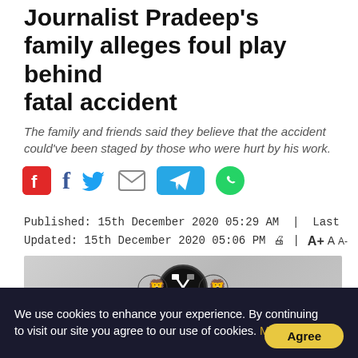Journalist Pradeep's family alleges foul play behind fatal accident
The family and friends said they believe that the accident could've been staged by those who were hurt by his work.
[Figure (infographic): Social share icons: Flipboard, Facebook, Twitter, Email, Telegram, WhatsApp]
Published: 15th December 2020 05:29 AM  |  Last Updated: 15th December 2020 05:06 PM  [print] | A+ A A-
[Figure (logo): TNIE newspaper logo with emblem on grey background showing large letters TNIE]
We use cookies to enhance your experience. By continuing to visit our site you agree to our use of cookies. More info
Agree